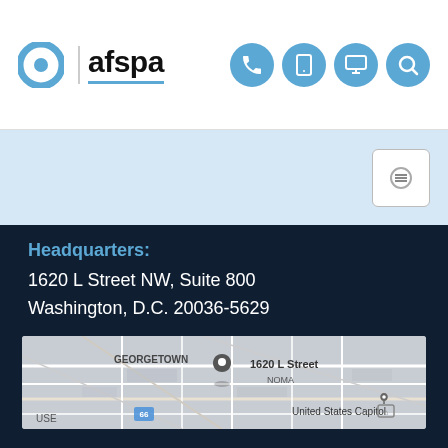[Figure (logo): AFSPA logo with blue circle/ring icon and bold 'afspa' text with blue underline, followed by four blue circle icons (phone, tablet, desktop/monitor, search)]
[Figure (other): Light blue navigation bar with a white rectangular menu/hamburger button on the right]
Headquarters:
1620 L Street NW, Suite 800
Washington, D.C. 20036-5629
[Figure (map): Google Maps screenshot showing Washington D.C. area with GEORGETOWN label, a map pin at 1620 L Street, NOMA label, United States Capitol label with icon, and route 66 marker]